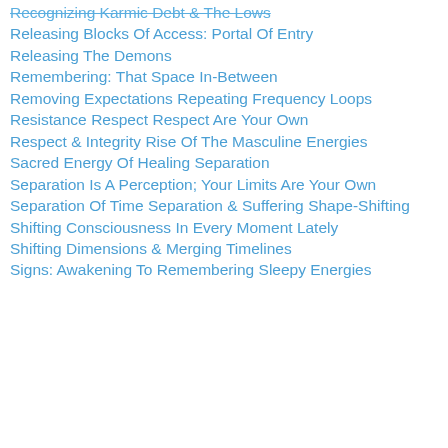Recognizing Karmic Debt & The Lows
Releasing Blocks Of Access: Portal Of Entry
Releasing The Demons
Remembering: That Space In-Between
Removing Expectations
Repeating Frequency Loops
Resistance
Respect
Respect Are Your Own
Respect & Integrity
Rise Of The Masculine Energies
Sacred Energy Of Healing
Separation
Separation Is A Perception; Your Limits Are Your Own
Separation Of Time
Separation & Suffering
Shape-Shifting
Shifting Consciousness In Every Moment Lately
Shifting Dimensions & Merging Timelines
Signs: Awakening To Remembering
Sleepy Energies